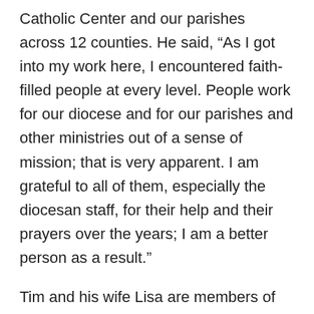Catholic Center and our parishes across 12 counties. He said, “As I got into my work here, I encountered faith-filled people at every level. People work for our diocese and for our parishes and other ministries out of a sense of mission; that is very apparent. I am grateful to all of them, especially the diocesan staff, for their help and their prayers over the years; I am a better person as a result.”
Tim and his wife Lisa are members of Evansville’s Good Shepherd Parish, and they are planning to spend more time with their children and grandchildren moving forward. Son Ryan and his wife Jett live in St. Louis, while?? daughter Kasey Byrley and her husband David are in Evansville